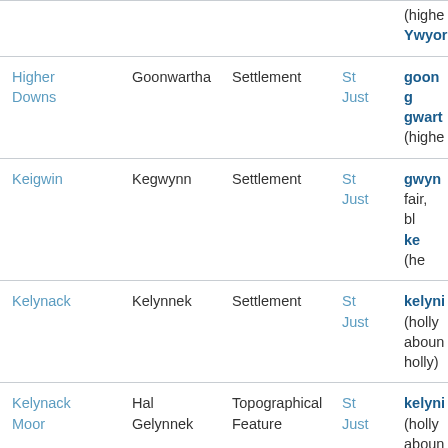| Place Name | Cornish Form | Type | Parish | Etymology |
| --- | --- | --- | --- | --- |
|  |  |  |  | (highe...
Ywyor... |
| Higher Downs | Goonwartha | Settlement | St Just | goon g...
gwart...
(highe... |
| Keigwin | Kegwynn | Settlement | St Just | gwynn...
fair, bl...
ke (he... |
| Kelynack | Kelynnek | Settlement | St Just | kelynh...
(holly...
aboun...
holly) |
| Kelynack Moor | Hal Gelynnek | Topographical Feature | St Just | kelynh...
(holly...
aboun...
holly)
hal (m... |